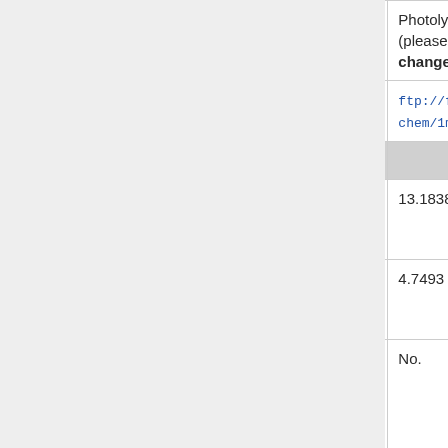|  |  |
| --- | --- |
| that apply with boldface) | Photolysis, Chemistry, Diag... (please specify): We expec... changes from v9-01-02c |
| Plots may be viewed at: | ftp://ftp.as.harvard.edu/gchem/1mo_benchmarks/v... |
| Metrics |  |
| Global mean OH (from log file): | 13.1838752732688 x 10^5 m... |
| Methyl chloroform lifetime: | 4.7493 years |
| Did either of these change by more than 5%? | No. |